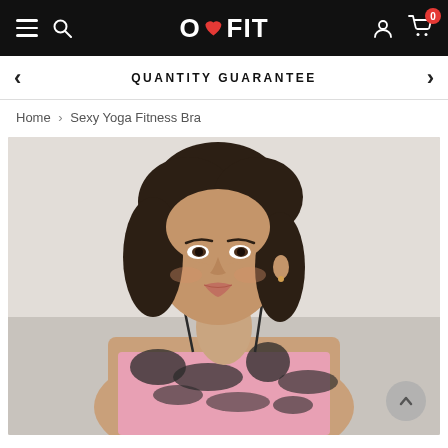O❤FIT — navigation bar with hamburger menu, search, logo, user account, cart (0)
QUANTITY GUARANTEE
Home > Sexy Yoga Fitness Bra
[Figure (photo): Product photo of a female model wearing a pink and black tie-dye yoga/fitness bra with spaghetti straps, photographed against a light grey background. The model has dark wavy hair and is shown from the shoulders up, with the garment visible at the bottom.]